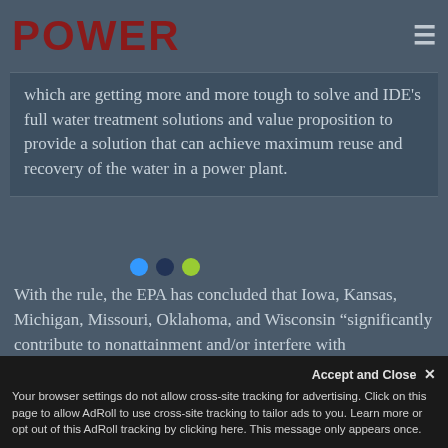POWER
which are getting more and more tough to solve and IDE's full water treatment solutions and value proposition to provide a solution that can achieve maximum reuse and recovery of the water in a power plant.
With the rule, the EPA has concluded that Iowa, Kansas, Michigan, Missouri, Oklahoma, and Wisconsin “significantly contribute to nonattainment and/or interfere with maintenance of the 1997 ozone National Ambient Air Quality Standard (NAAQS) in one or more downwind states.” However, because of the status of Kansas’ state implementation plan (SIP) for
Accept and Close ×
Your browser settings do not allow cross-site tracking for advertising. Click on this page to allow AdRoll to use cross-site tracking to tailor ads to you. Learn more or opt out of this AdRoll tracking by clicking here. This message only appears once.